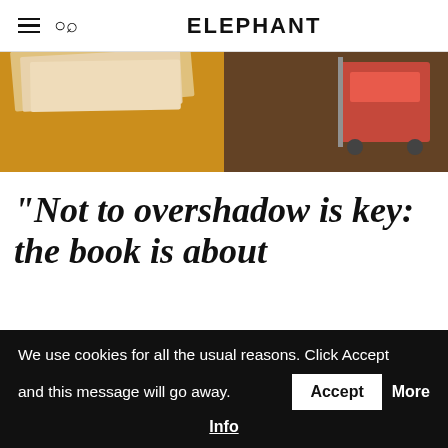ELEPHANT
[Figure (photo): A blurred photo showing a yellow surface with white papers on the left half, and a wooden floor with a red/orange trolley or cart on the right half.]
“Not to overshadow is key: the book is about
We use cookies for all the usual reasons. Click Accept and this message will go away. Accept  More Info